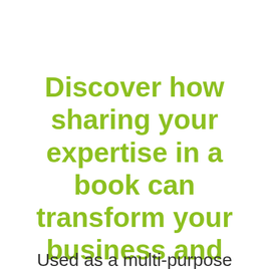Discover how sharing your expertise in a book can transform your business and raise your visibility.
Used as a multi-purpose